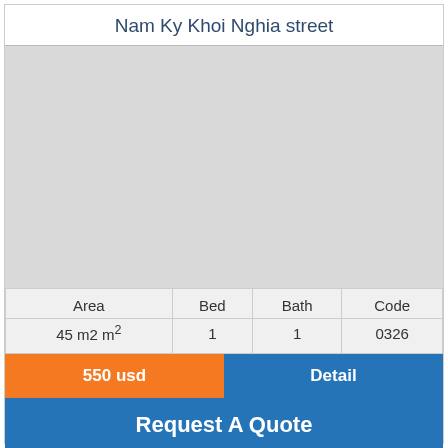Nam Ky Khoi Nghia street
[Figure (photo): Gray placeholder image area for property photo]
| Area | Bed | Bath | Code |
| --- | --- | --- | --- |
| 45 m2 m² | 1 | 1 | 0326 |
550 usd
Detail
Request A Quote
0938.67.68.67